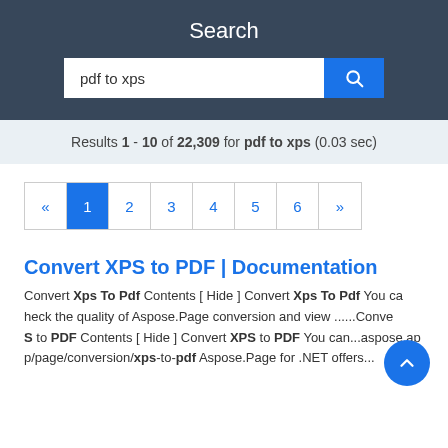Search
pdf to xps
Results 1 - 10 of 22,309 for pdf to xps (0.03 sec)
« 1 2 3 4 5 6 »
Convert XPS to PDF | Documentation
Convert Xps To Pdf Contents [ Hide ] Convert Xps To Pdf You can check the quality of Aspose.Page conversion and view ......Convert XPS to PDF Contents [ Hide ] Convert XPS to PDF You can...aspose.app/page/conversion/xps-to-pdf Aspose.Page for .NET offers...